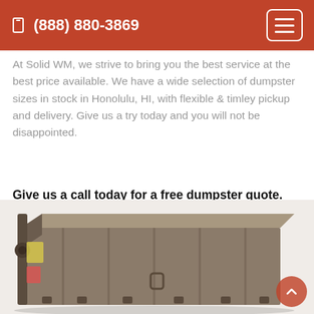(888) 880-3869
At Solid WM, we strive to bring you the best service at the best price available. We have a wide selection of dumpster sizes in stock in Honolulu, HI, with flexible & timley pickup and delivery. Give us a try today and you will not be disappointed.
Give us a call today for a free dumpster quote. (888) 880-3869
[Figure (photo): Photo of a large industrial roll-off dumpster container, dark metallic color, viewed from the front-left angle showing the top, front, and side panels with steel hooks and latches.]